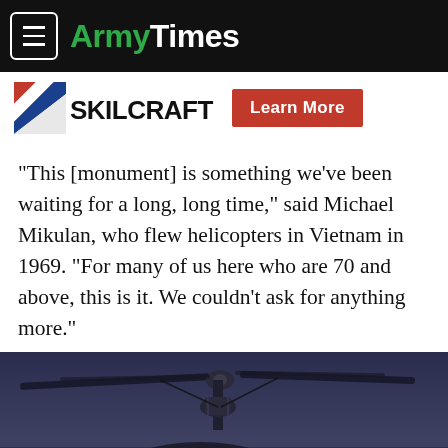ArmyTimes
[Figure (logo): Skilcraft logo with diagonal stripe graphic and 'Learn More' red button]
“This [monument] is something we’ve been waiting for a long, long time,” said Michael Mikulan, who flew helicopters in Vietnam in 1969. “For many of us here who are 70 and above, this is it. We couldn’t ask for anything more.”
[Figure (photo): Aerial photograph of a military helicopter rotor mechanism against a dark sky and terrain below]
[Figure (other): Advertisement banner with repeating circular logo pattern on grey background]